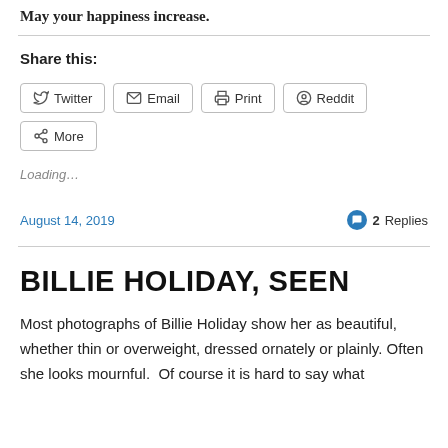May your happiness increase.
Share this:
Twitter | Email | Print | Reddit | More
Loading...
August 14, 2019   2 Replies
BILLIE HOLIDAY, SEEN
Most photographs of Billie Holiday show her as beautiful, whether thin or overweight, dressed ornately or plainly. Often she looks mournful.  Of course it is hard to say what